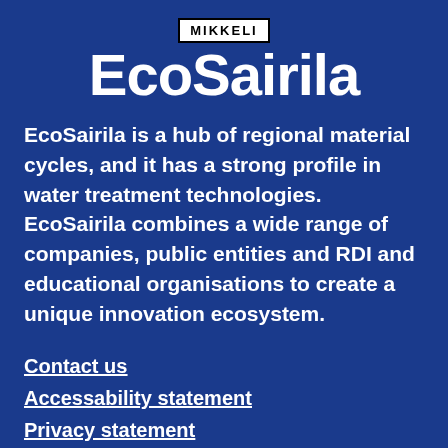[Figure (logo): Mikkeli logo — white box with black border containing the text MIKKELI in bold uppercase letters]
EcoSairila
EcoSairila is a hub of regional material cycles, and it has a strong profile in water treatment technologies. EcoSairila combines a wide range of companies, public entities and RDI and educational organisations to create a unique innovation ecosystem.
Contact us
Accessability statement
Privacy statement